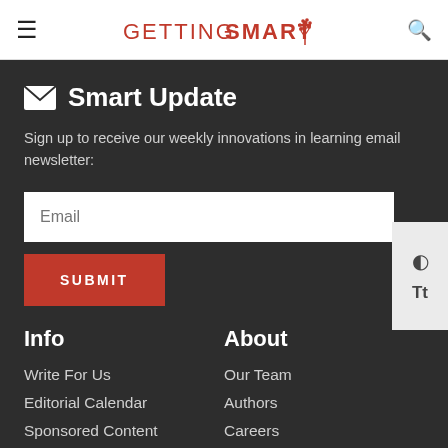Getting Smart
Smart Update
Sign up to receive our weekly innovations in learning email newsletter:
Email
SUBMIT
Info
About
Write For Us
Editorial Calendar
Sponsored Content
Media Kit
Our Team
Authors
Careers